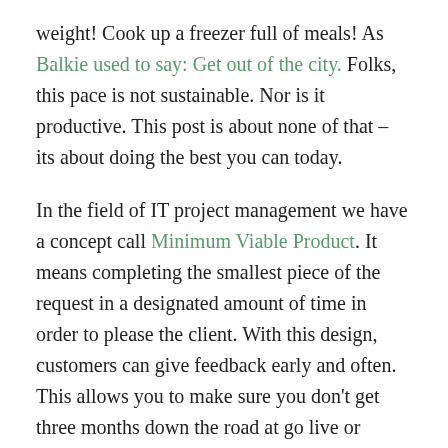weight! Cook up a freezer full of meals! As Balkie used to say: Get out of the city. Folks, this pace is not sustainable. Nor is it productive. This post is about none of that – its about doing the best you can today.
In the field of IT project management we have a concept call Minimum Viable Product. It means completing the smallest piece of the request in a designated amount of time in order to please the client. With this design, customers can give feedback early and often. This allows you to make sure you don't get three months down the road at go live or product launch and realize the client didn't want it to go quite like that.